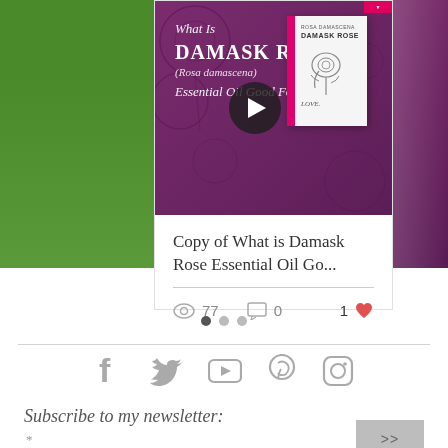[Figure (screenshot): Blog post card showing a video thumbnail with purple background featuring 'What Is Damask Rose (Rosa damascena) Essential Oil Good For?' text and a play button, alongside a book cover with a rose illustration. Left side shows green panel edge, right side shows purple panel edge.]
Copy of What is Damask Rose Essential Oil Go...
77 views · 0 comments · 1 like
[Figure (infographic): Pagination indicator with three dots, first dot filled/active, two dots grey]
[Figure (infographic): Social media icons row: Facebook, Twitter, YouTube, Pinterest, Instagram - all in grey]
Subscribe to my newsletter:
*